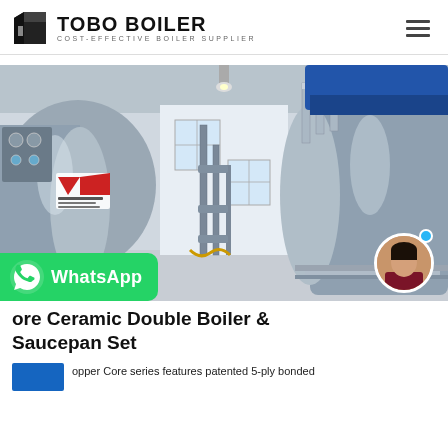TOBO BOILER — COST-EFFECTIVE BOILER SUPPLIER
[Figure (photo): Industrial boiler room with two large cylindrical stainless steel boilers on either side of a central corridor, pipes and fittings visible, Chinese manufacturer logo (方快锅炉) on left boiler, bright industrial space with windows in background.]
ore Ceramic Double Boiler & Saucepan Set
opper Core series features patented 5-ply bonded